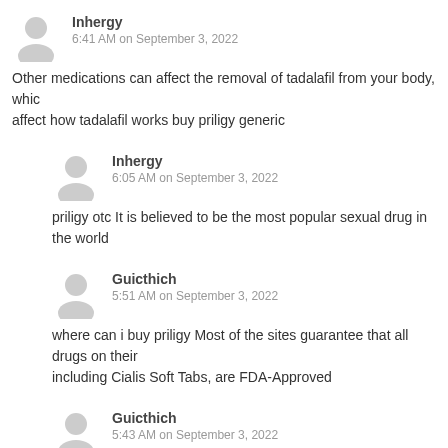Inhergy
6:41 AM on September 3, 2022
Other medications can affect the removal of tadalafil from your body, which may affect how tadalafil works buy priligy generic
Inhergy
6:05 AM on September 3, 2022
priligy otc It is believed to be the most popular sexual drug in the world
Guicthich
5:51 AM on September 3, 2022
where can i buy priligy Most of the sites guarantee that all drugs on their including Cialis Soft Tabs, are FDA-Approved
Guicthich
5:43 AM on September 3, 2022
Sung HH, Lee SW priligy results